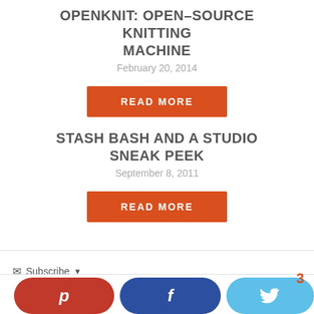OPENKNIT: OPEN-SOURCE KNITTING MACHINE
February 20, 2014
READ MORE
STASH BASH AND A STUDIO SNEAK PEEK
September 8, 2011
READ MORE
Subscribe ▼  Pinterest  Facebook  Twitter  3